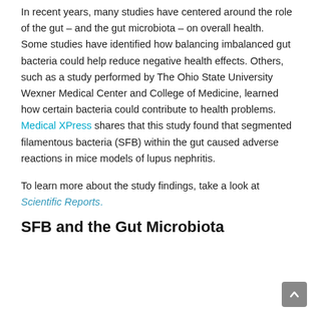In recent years, many studies have centered around the role of the gut – and the gut microbiota – on overall health. Some studies have identified how balancing imbalanced gut bacteria could help reduce negative health effects. Others, such as a study performed by The Ohio State University Wexner Medical Center and College of Medicine, learned how certain bacteria could contribute to health problems. Medical XPress shares that this study found that segmented filamentous bacteria (SFB) within the gut caused adverse reactions in mice models of lupus nephritis.
To learn more about the study findings, take a look at Scientific Reports.
SFB and the Gut Microbiota